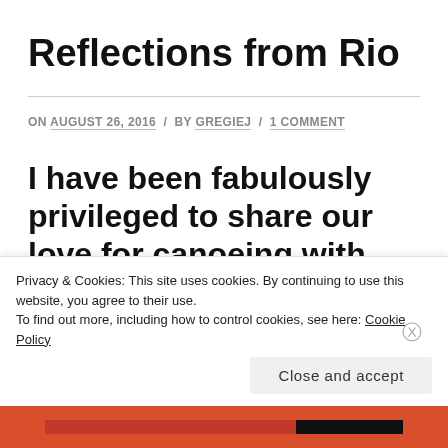Reflections from Rio
ON AUGUST 26, 2016 / BY GREGIEJ / 1 COMMENT
I have been fabulously privileged to share our love for canoeing with the rest of
Privacy & Cookies: This site uses cookies. By continuing to use this website, you agree to their use.
To find out more, including how to control cookies, see here: Cookie Policy
Close and accept